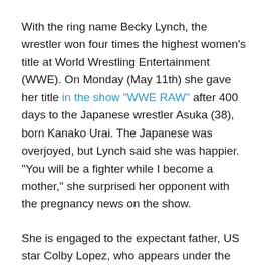With the ring name Becky Lynch, the wrestler won four times the highest women's title at World Wrestling Entertainment (WWE). On Monday (May 11th) she gave her title in the show "WWE RAW" after 400 days to the Japanese wrestler Asuka (38), born Kanako Urai. The Japanese was overjoyed, but Lynch said she was happier. "You will be a fighter while I become a mother," she surprised her opponent with the pregnancy news on the show.
She is engaged to the expectant father, US star Colby Lopez, who appears under the wrestling ring name Seth Rollins. They made their relationship public in May 2019 with a black and white photo on Instagram .
ga ("create", "UA-48907336-17", "auto", {"name": "SpotOnTracker"}); ga ("SpotOnTracker.require", "display features") ; ga ("SpotOnTracker.require", "ec", {"auto":...